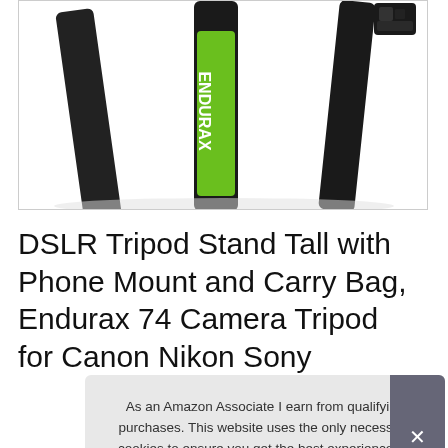[Figure (photo): Product photo of Endurax tripod — black legs with green/yellow branding, showing multiple angles including a small camera mount head]
DSLR Tripod Stand Tall with Phone Mount and Carry Bag, Endurax 74 Camera Tripod for Canon Nikon Sony
#ad
As an Amazon Associate I earn from qualifying purchases. This website uses the only necessary cookies to ensure you get the best experience on our website. More information